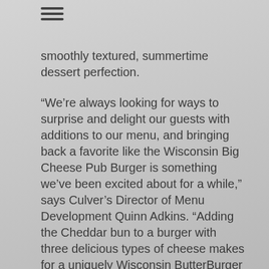[Figure (other): Hamburger menu icon with three horizontal lines]
smoothly textured, summertime dessert perfection.
“We’re always looking for ways to surprise and delight our guests with additions to our menu, and bringing back a favorite like the Wisconsin Big Cheese Pub Burger is something we’ve been excited about for a while,” says Culver’s Director of Menu Development Quinn Adkins. “Adding the Cheddar bun to a burger with three delicious types of cheese makes for a uniquely Wisconsin ButterBurger – and capping it off with a Root Beer Float or Shake is the perfect way to celebrate summertime at Culver’s.”